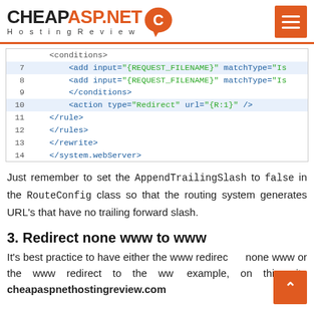CHEAPASP.NET Hosting Review
[Figure (screenshot): XML code block showing lines 7-14 of a web.config rewrite rule configuration]
Just remember to set the AppendTrailingSlash to false in the RouteConfig class so that the routing system generates URLs that have no trailing forward slash.
3. Redirect none www to www
It's best practice to have either the www redirect to none www or the www redirect to the www example, on this site cheapaspnethostingreview.com